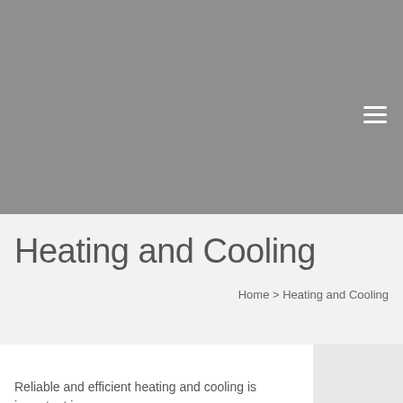[Figure (photo): Gray hero image banner at the top of the page]
Heating and Cooling
Home > Heating and Cooling
[Figure (photo): Partial image visible in the bottom right corner]
Reliable and efficient heating and cooling is important in